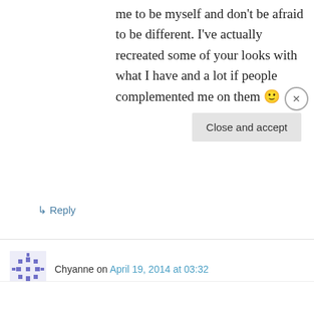me to be myself and don't be afraid to be different. I've actually recreated some of your looks with what I have and a lot if people complemented me on them 🙂
↳ Reply
Chyanne on April 19, 2014 at 03:32
I have to say my favorite all time look you have ever done was the minnie mouse one. I've been
Privacy & Cookies: This site uses cookies. By continuing to use this website, you agree to their use.
To find out more, including how to control cookies, see here: Cookie Policy
Close and accept